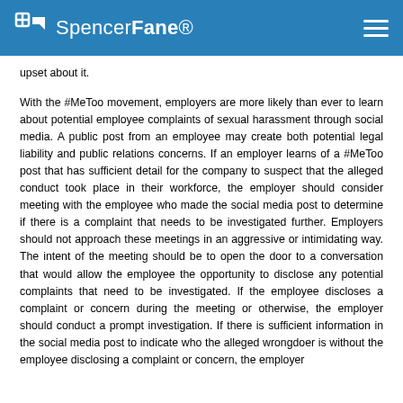SpencerFane
upset about it.
With the #MeToo movement, employers are more likely than ever to learn about potential employee complaints of sexual harassment through social media. A public post from an employee may create both potential legal liability and public relations concerns. If an employer learns of a #MeToo post that has sufficient detail for the company to suspect that the alleged conduct took place in their workforce, the employer should consider meeting with the employee who made the social media post to determine if there is a complaint that needs to be investigated further. Employers should not approach these meetings in an aggressive or intimidating way. The intent of the meeting should be to open the door to a conversation that would allow the employee the opportunity to disclose any potential complaints that need to be investigated. If the employee discloses a complaint or concern during the meeting or otherwise, the employer should conduct a prompt investigation. If there is sufficient information in the social media post to indicate who the alleged wrongdoer is without the employee disclosing a complaint or concern, the employer